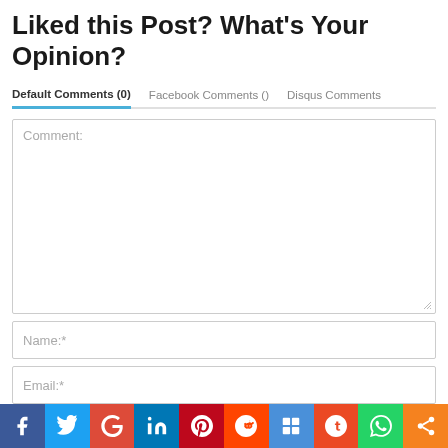Liked this Post? What's Your Opinion?
Default Comments (0)   Facebook Comments ()   Disqus Comments
Comment:
Name:*
Email:*
Website:
[Figure (other): Social sharing bar with icons for Facebook, Twitter, Google+, LinkedIn, Pinterest, Reddit, Delicious, StumbleUpon, WhatsApp, Share]